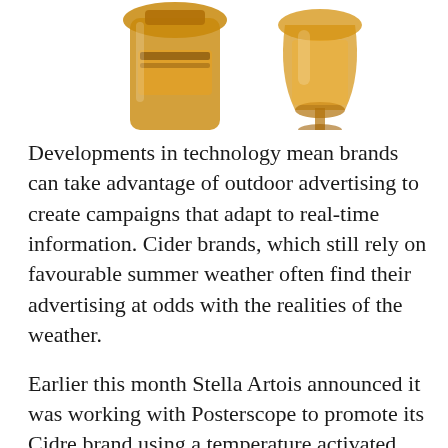[Figure (photo): Photo of cider/beer bottles and glasses with golden amber liquid, partially cropped at top of page]
Developments in technology mean brands can take advantage of outdoor advertising to create campaigns that adapt to real-time information. Cider brands, which still rely on favourable summer weather often find their advertising at odds with the realities of the weather.
Earlier this month Stella Artois announced it was working with Posterscope to promote its Cidre brand using a temperature activated campaign as competition in the sector intensifies.